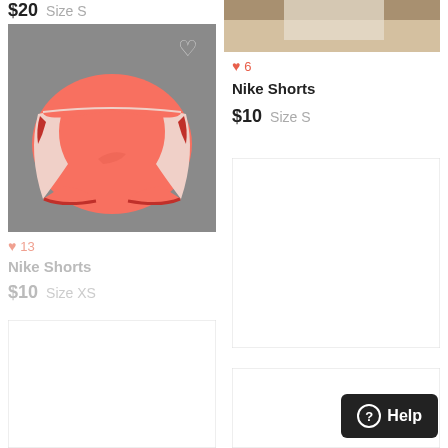$20  Size S
[Figure (photo): Photo of pink/coral Nike running shorts on gray background]
♥ 13
Nike Shorts
$10  Size XS
[Figure (photo): Partial clothing photo (top right), cropped]
♥ 6
Nike Shorts
$10  Size S
[Figure (photo): Empty/loading placeholder image (right middle)]
[Figure (photo): Empty/loading placeholder image (bottom left)]
[Figure (photo): Empty/loading placeholder image (bottom right)]
Help